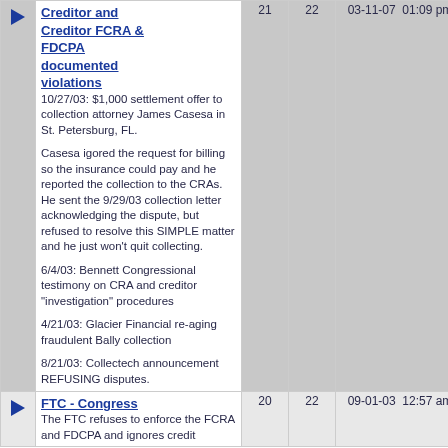| Topic | Posts | Views | Date | Author |
| --- | --- | --- | --- | --- |
| Creditor and Creditor FCRA & FDCPA documented violations
10/27/03: $1,000 settlement offer to collection attorney James Casesa in St. Petersburg, FL.

Casesa igored the request for billing so the insurance could pay and he reported the collection to the CRAs. He sent the 9/29/03 collection letter acknowledging the dispute, but refused to resolve this SIMPLE matter and he just won't quit collecting.

6/4/03: Bennett Congressional testimony on CRA and creditor "investigation" procedures

4/21/03: Glacier Financial re-aging fraudulent Bally collection

8/21/03: Collectech announcement REFUSING disputes. | 21 | 22 | 03-11-07 01:09 pm | Christine... |
| FTC - Congress
The FTC refuses to enforce the FCRA and FDCPA and ignores credit... | 20 | 22 | 09-01-03 12:57 am | Christine |